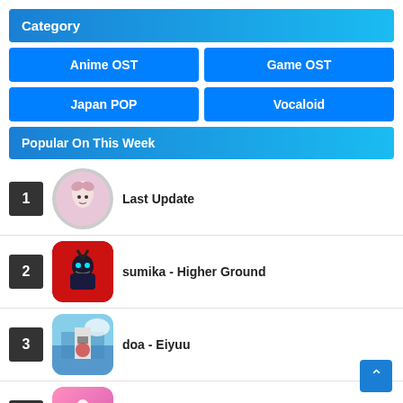Category
Anime OST
Game OST
Japan POP
Vocaloid
Popular On This Week
1 Last Update
2 sumika - Higher Ground
3 doa - Eiyuu
4 SV TRIBE - U-n-d-e-r--STANDING!